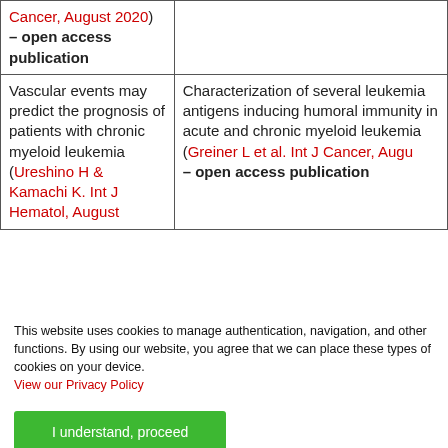| Cancer, August 2020) – open access publication |  |
| Vascular events may predict the prognosis of patients with chronic myeloid leukemia (Ureshino H & Kamachi K. Int J Hematol, August | Characterization of several leukemia antigens inducing humoral immunity in acute and chronic myeloid leukemia (Greiner L et al. Int J Cancer, August – open access publication |
This website uses cookies to manage authentication, navigation, and other functions. By using our website, you agree that we can place these types of cookies on your device.
View our Privacy Policy
I understand, proceed